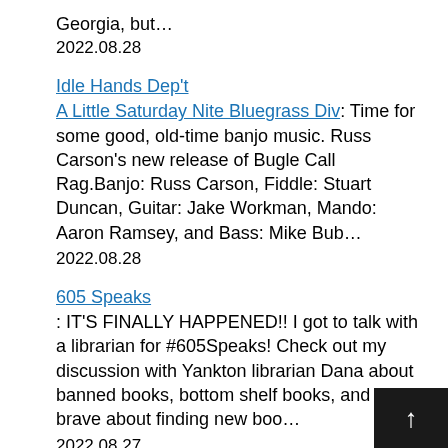Georgia, but…
2022.08.28
Idle Hands Dep't
A Little Saturday Nite Bluegrass Div: Time for some good, old-time banjo music. Russ Carson's new release of Bugle Call Rag.Banjo: Russ Carson, Fiddle: Stuart Duncan, Guitar: Jake Workman, Mando: Aaron Ramsey, and Bass: Mike Bub…
2022.08.28
605 Speaks
: IT'S FINALLY HAPPENED!! I got to talk with a librarian for #605Speaks! Check out my discussion with Yankton librarian Dana about banned books, bottom shelf books, and being brave about finding new boo…
2022.08.27